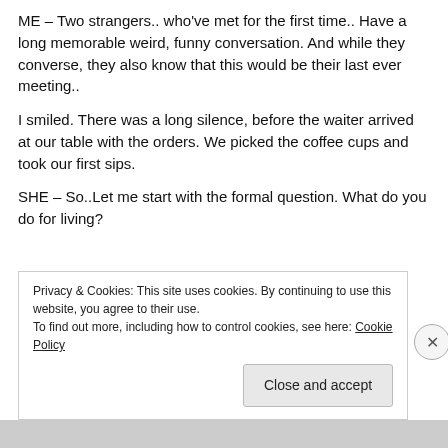ME – Two strangers.. who've met for the first time.. Have a long memorable weird, funny conversation. And while they converse, they also know that this would be their last ever meeting..
I smiled. There was a long silence, before the waiter arrived at our table with the orders. We picked the coffee cups and took our first sips.
SHE – So..Let me start with the formal question. What do you do for living?
Privacy & Cookies: This site uses cookies. By continuing to use this website, you agree to their use.
To find out more, including how to control cookies, see here: Cookie Policy
Close and accept